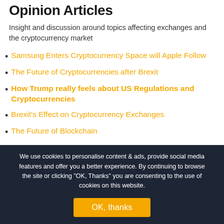Opinion Articles
Insight and discussion around topics affecting exchanges and the cryptocurrency market
Samsung Enters Cryptocurrency Space will Apple Follow
The Future of Cryptocurrencies after Brexit
How Trump really feels about US Regulations and Cryptocurrencies
Brexit's Effect on Cryptocurrency Exchanges
The Future of Blockchain
We use cookies to personalise content & ads, provide social media features and offer you a better experience. By continuing to browse the site or clicking "OK, Thanks" you are consenting to the use of cookies on this website.